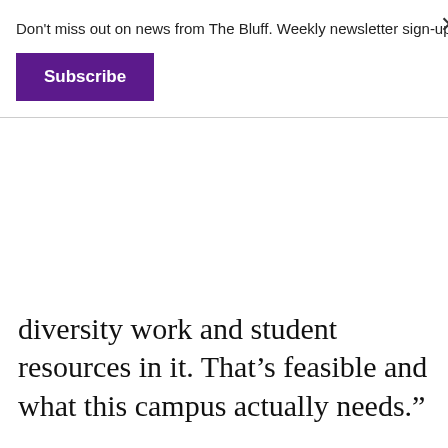Don't miss out on news from The Bluff. Weekly newsletter sign-up:
Subscribe
diversity work and student resources in it. That’s feasible and what this campus actually needs.”
Morton and other students also mentioned that the space is not as welcoming and usable as it could be, due to the lack of artwork, movable furniture and projector.
“It seems like they gave it to us bare bones and they expect it to be like a ‘bring your own diversity’ sort of thing. Granted,